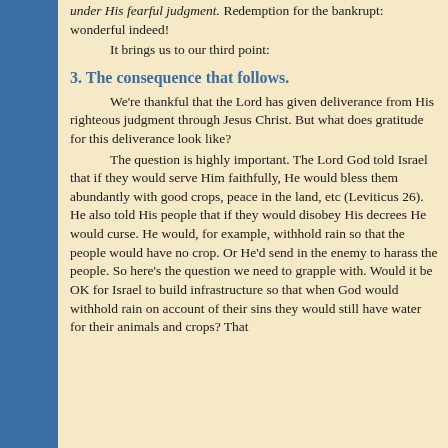under His fearful judgment.  Redemption for the bankrupt: wonderful indeed!
        It brings us to our third point:
3.  The consequence that follows.
We’re thankful that the Lord has given deliverance from His righteous judgment through Jesus Christ.  But what does gratitude for this deliverance look like?
        The question is highly important.  The Lord God told Israel that if they would serve Him faithfully, He would bless them abundantly with good crops, peace in the land, etc (Leviticus 26).  He also told His people that if they would disobey His decrees He would curse.  He would, for example, withhold rain so that the people would have no crop.  Or He’d send in the enemy to harass the people.  So here’s the question we need to grapple with.  Would it be OK for Israel to build infrastructure so that when God would withhold rain on account of their sins they would still have water for their animals and crops?  That